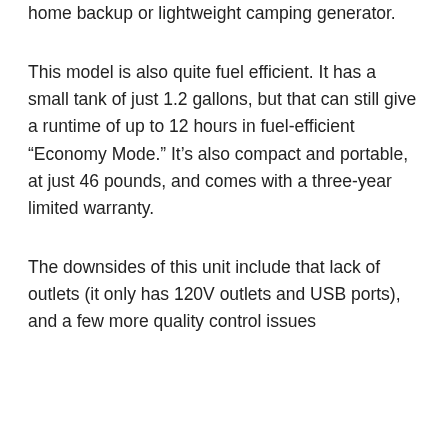home backup or lightweight camping generator.
This model is also quite fuel efficient. It has a small tank of just 1.2 gallons, but that can still give a runtime of up to 12 hours in fuel-efficient “Economy Mode.” It’s also compact and portable, at just 46 pounds, and comes with a three-year limited warranty.
The downsides of this unit include that lack of outlets (it only has 120V outlets and USB ports), and a few more quality control issues